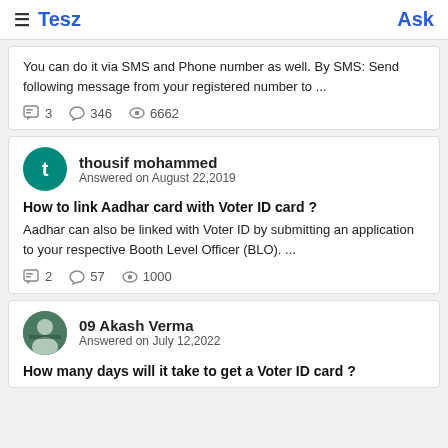≡ Tesz  Ask
You can do it via SMS and Phone number as well. By SMS: Send following message from your registered number to ...
3  346  6662
thousif mohammed
Answered on August 22,2019
How to link Aadhar card with Voter ID card ?
Aadhar can also be linked with Voter ID by submitting an application to your respective Booth Level Officer (BLO). ...
2  57  1000
09 Akash Verma
Answered on July 12,2022
How many days will it take to get a Voter ID card ?